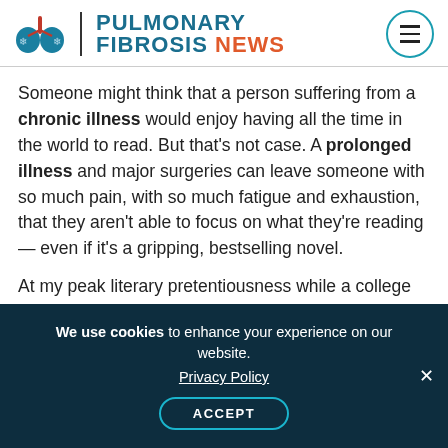[Figure (logo): Pulmonary Fibrosis News logo with lungs icon, divider, and text]
Someone might think that a person suffering from a chronic illness would enjoy having all the time in the world to read. But that's not case. A prolonged illness and major surgeries can leave someone with so much pain, with so much fatigue and exhaustion, that they aren't able to focus on what they're reading — even if it's a gripping, bestselling novel.
At my peak literary pretentiousness while a college senior studying creative writing, I teased that my mom liked reading only romance novels
We use cookies to enhance your experience on our website. Privacy Policy ACCEPT